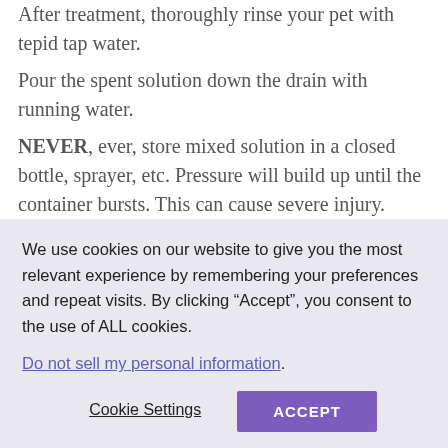After treatment, thoroughly rinse your pet with tepid tap water.
Pour the spent solution down the drain with running water.
NEVER, ever, store mixed solution in a closed bottle, sprayer, etc. Pressure will build up until the container bursts. This can cause severe injury.
(Note from NutriSource: This is why Mr.
We use cookies on our website to give you the most relevant experience by remembering your preferences and repeat visits. By clicking “Accept”, you consent to the use of ALL cookies.
Do not sell my personal information.
Cookie Settings
ACCEPT